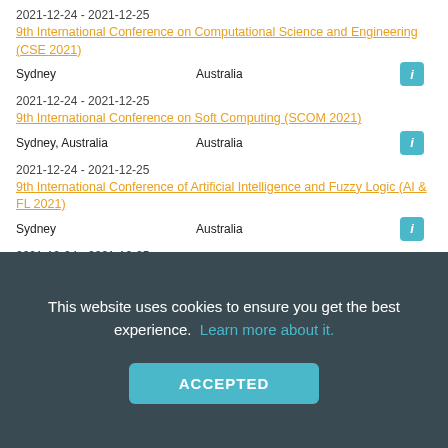2021-12-24 - 2021-12-25
9th International Conference on Computational Science and Engineering (CSE 2021)
Sydney   Australia
2021-12-24 - 2021-12-25
9th International Conference on Soft Computing (SCOM 2021)
Sydney, Australia   Australia
2021-12-24 - 2021-12-25
9th International Conference of Artificial Intelligence and Fuzzy Logic (AI & FL 2021)
Sydney   Australia
2021-12-24 - 2021-12-25
9th International Conference of Artificial Intelligence and Fuzzy Logic (AI&FL2021)
This website uses cookies to ensure you get the best experience.  Learn more about it.
ACCEPTED